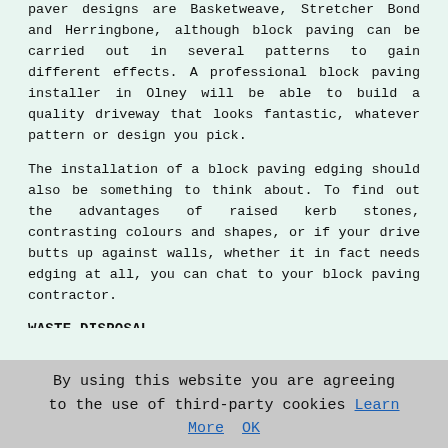paver designs are Basketweave, Stretcher Bond and Herringbone, although block paving can be carried out in several patterns to gain different effects. A professional block paving installer in Olney will be able to build a quality driveway that looks fantastic, whatever pattern or design you pick.
The installation of a block paving edging should also be something to think about. To find out the advantages of raised kerb stones, contrasting colours and shapes, or if your drive butts up against walls, whether it in fact needs edging at all, you can chat to your block paving contractor.
WASTE DISPOSAL
A block paving installation quote must always include an itemised allowance for the removal of waste and soil and the proper manner of its disposal. Clearly, the amount of earth and waste materials that will be required to be disposed of will depend on the overall size of your new drive and whether an existing drive is involved. Unless you're able to make use of the scraped off topsoil in other sections of your garden, it will need to be carried away by
By using this website you are agreeing to the use of third-party cookies Learn More  OK